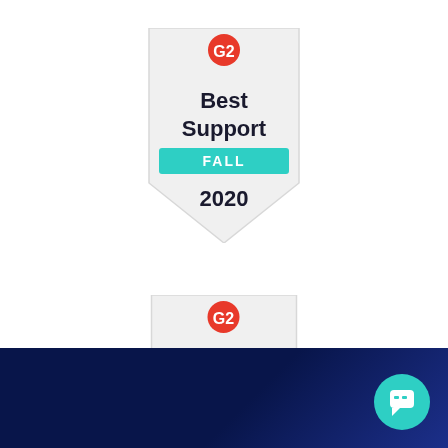[Figure (logo): G2 Best Support Fall 2020 badge — shield shape with G2 logo at top in red, 'Best Support' in bold black text, 'FALL' on teal/green ribbon, '2020' below]
[Figure (logo): G2 Users Love Us badge — shield/pentagon shape with G2 logo at top in red/orange, 'Users Love Us' in bold black text]
Finding the right devops process for Salesforce can be a journey. What devops challenges can we help you solve today?
[Figure (other): Dark navy/blue footer bar with teal chat bubble FAB icon at bottom right]